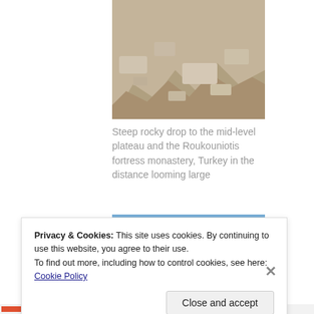[Figure (photo): Steep rocky terrain with stones and arid landscape — top portion of image cropped]
Steep rocky drop to the mid-level plateau and the Roukouniotis fortress monastery, Turkey in the distance looming large
[Figure (photo): Rocky hillside with purple flowering shrubs and green pine trees in background, blue sky]
Privacy & Cookies: This site uses cookies. By continuing to use this website, you agree to their use.
To find out more, including how to control cookies, see here: Cookie Policy
Close and accept